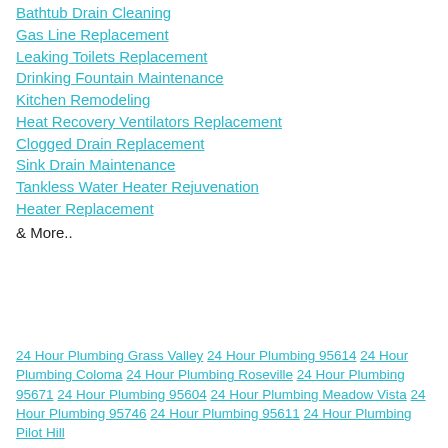Bathtub Drain Cleaning
Gas Line Replacement
Leaking Toilets Replacement
Drinking Fountain Maintenance
Kitchen Remodeling
Heat Recovery Ventilators Replacement
Clogged Drain Replacement
Sink Drain Maintenance
Tankless Water Heater Rejuvenation
Heater Replacement
& More..
24 Hour Plumbing Grass Valley 24 Hour Plumbing 95614 24 Hour Plumbing Coloma 24 Hour Plumbing Roseville 24 Hour Plumbing 95671 24 Hour Plumbing 95604 24 Hour Plumbing Meadow Vista 24 Hour Plumbing 95746 24 Hour Plumbing 95611 24 Hour Plumbing Pilot Hill